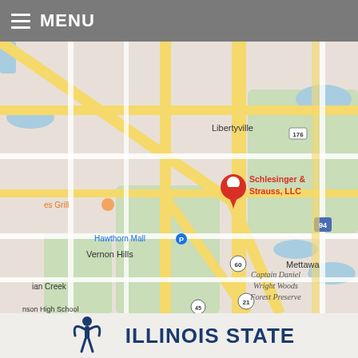MENU
[Figure (map): Google Maps screenshot showing the location of Schlesinger & Strauss, LLC in the Vernon Hills / Libertyville area of Illinois. Map shows roads, forest preserves (Middlefork Savanna Forest Preserve, Captain Daniel Wright Woods Forest Preserve), towns (Libertyville, Vernon Hills, Mettawa, Rondout, Lake Bluff, Lake Forest, Green Oaks, Knollwood), highways (41, 43, 45, 21, 60, 94, 22, 176), and the red location pin for Schlesinger & Strauss, LLC.]
[Figure (logo): Illinois State logo — abstract figure with arms raised above head, dark blue arc lines]